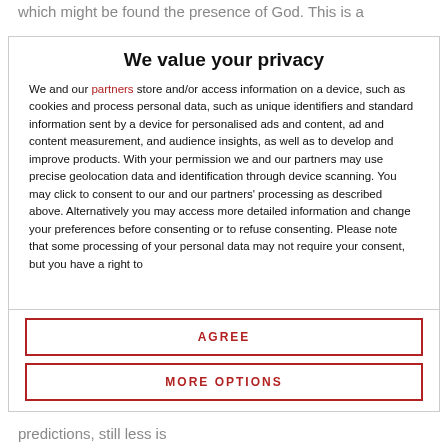which might be found the presence of God. This is a
We value your privacy
We and our partners store and/or access information on a device, such as cookies and process personal data, such as unique identifiers and standard information sent by a device for personalised ads and content, ad and content measurement, and audience insights, as well as to develop and improve products. With your permission we and our partners may use precise geolocation data and identification through device scanning. You may click to consent to our and our partners' processing as described above. Alternatively you may access more detailed information and change your preferences before consenting or to refuse consenting. Please note that some processing of your personal data may not require your consent, but you have a right to
AGREE
MORE OPTIONS
predictions, still less is